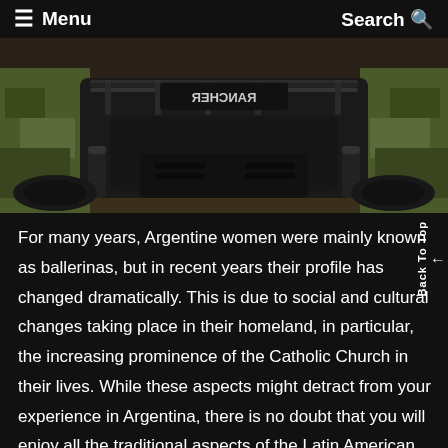≡ Menu    Search Q
[Figure (photo): Close-up front view of a black Honda Rancher ATV (all-terrain vehicle) with camouflage-patterned fenders, shot from a low angle showing the front rack, headlight guards, and front bumper.]
For many years, Argentine women were mainly known as ballerinas, but in recent years their profile has changed dramatically. This is due to social and cultural changes taking place in their homeland, in particular, the increasing prominence of the Catholic Church in their lives. While these aspects might detract from your experience in Argentina, there is no doubt that you will enjoy all the traditional aspects of the Latin American women you come across. The argentines are warm, friendly and welcoming, which means that you will always find the local